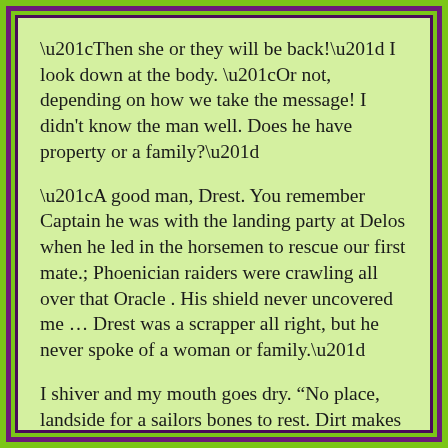“Then she or they will be back!” I look down at the body. “Or not, depending on how we take the message! I didn’t know the man well. Does he have property or a family?”
“A good man, Drest. You remember Captain he was with the landing party at Delos when he led in the horsemen to rescue our first mate.; Phoenician raiders were crawling all over that Oracle . His shield never uncovered me … Drest was a scrapper all right, but he never spoke of a woman or family.”
I shiver and my mouth goes dry. “No place, landside for a sailors bones to rest. Dirt makes his spirit restless.”
“The ferryman will not hold it against you.” Mykron passes on a pour of coffee that was making its way around the deck. “Remember Captain he was one we picked up from the